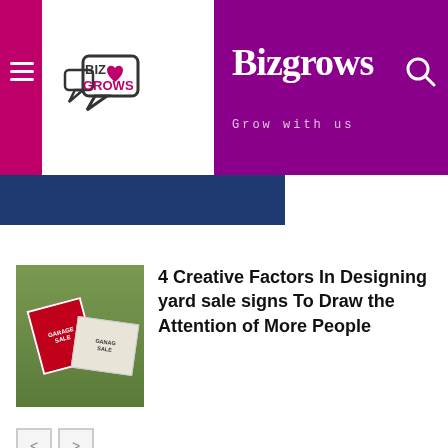Bizgrows — Grow with us
[Figure (screenshot): Partially cropped image strip at top showing a blue background with partial text content]
[Figure (photo): Photo of garage sale signs on grass — red sign reading GARAGE SALE and printed GARAGE SALE signs lying on ground]
4 Creative Factors In Designing yard sale signs To Draw the Attention of More People
[Figure (logo): Bizgrows logo in footer — speech bubble icon with heart, BIZ in dark grey, GROWS in red]